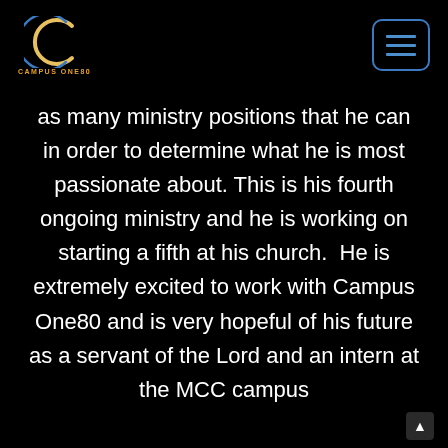CAMPUS ONE80 logo and navigation menu
as many ministry positions that he can in order to determine what he is most passionate about. This is his fourth ongoing ministry and he is working on starting a fifth at his church.  He is extremely excited to work with Campus One80 and is very hopeful of his future as a servant of the Lord and an intern at the MCC campus